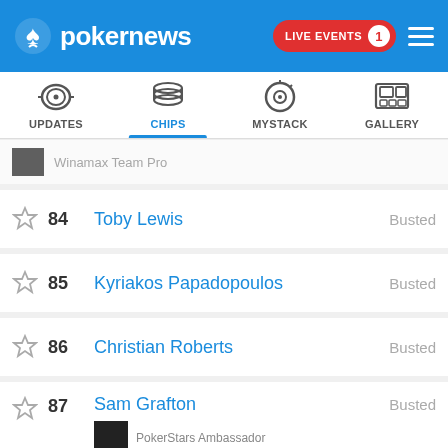pokernews — LIVE EVENTS 1
[Figure (screenshot): Navigation tab bar with icons: UPDATES, CHIPS (active/selected), MYSTACK, GALLERY]
Winamax Team Pro — (partial row, blurred)
84  Toby Lewis  Busted
85  Kyriakos Papadopoulos  Busted
86  Christian Roberts  Busted
87  Sam Grafton  PokerStars Ambassador  Busted
88  Viet Vo  Busted